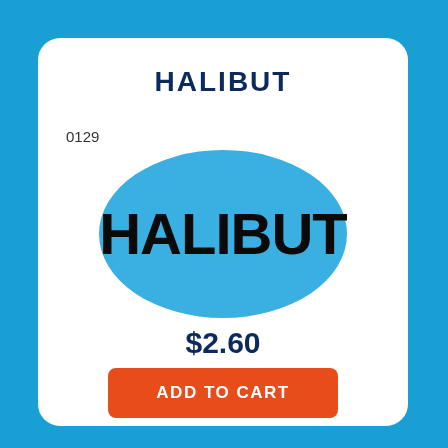HALIBUT
0129
[Figure (illustration): Blue oval/pill-shaped label with bold black text reading HALIBUT]
$2.60
ADD TO CART